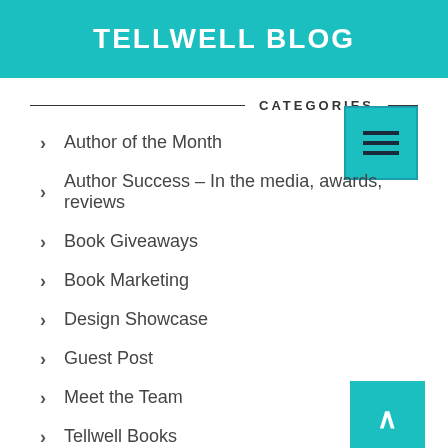TELLWELL BLOG
CATEGORIES
Author of the Month
Author Success – In the media, awards, reviews
Book Giveaways
Book Marketing
Design Showcase
Guest Post
Meet the Team
Tellwell Books